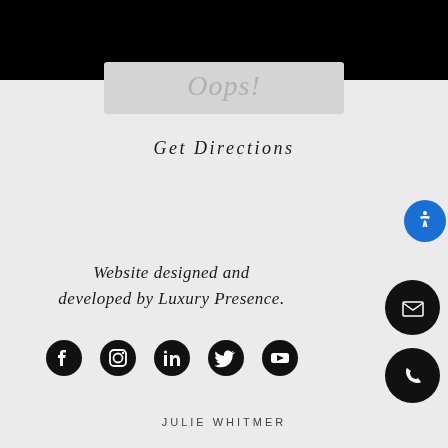[Figure (screenshot): Black header bar at top of page]
Oops!
Get Directions
Website designed and developed by Luxury Presence.
[Figure (infographic): Social media icons: Facebook, Instagram, LinkedIn, Twitter, YouTube]
[Figure (infographic): Blue accessibility icon button on right side]
[Figure (infographic): Black circular email button on right side]
[Figure (infographic): Black circular phone button on right side]
JULIE WHITMER